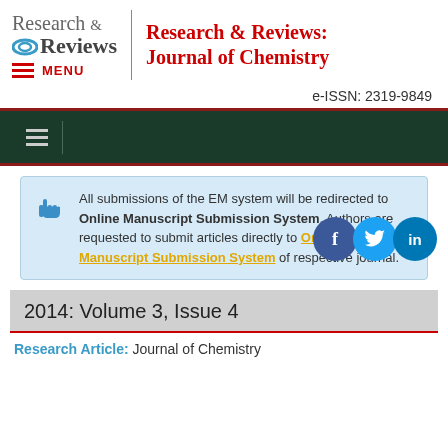[Figure (logo): Research & Reviews journal logo with circular icon]
Research & Reviews: Journal of Chemistry
e-ISSN: 2319-9849
[Figure (other): Dark green navigation bar with hamburger menu icon]
All submissions of the EM system will be redirected to Online Manuscript Submission System. Authors are requested to submit articles directly to Online Manuscript Submission System of respective journal.
2014: Volume 3, Issue 4
Research Article:  Journal of Chemistry